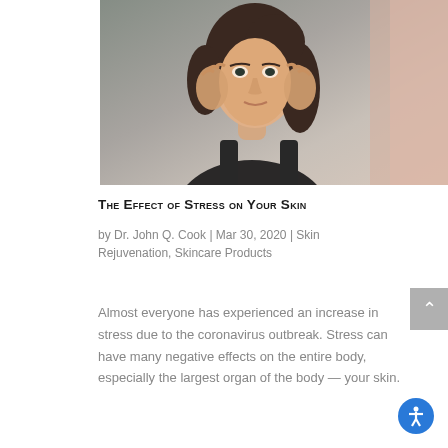[Figure (photo): A woman with dark hair touching her face with both hands, looking in a mirror. The background is blurred. The photo has warm, neutral tones.]
The Effect of Stress on Your Skin
by Dr. John Q. Cook | Mar 30, 2020 | Skin Rejuvenation, Skincare Products
Almost everyone has experienced an increase in stress due to the coronavirus outbreak. Stress can have many negative effects on the entire body, especially the largest organ of the body — your skin.